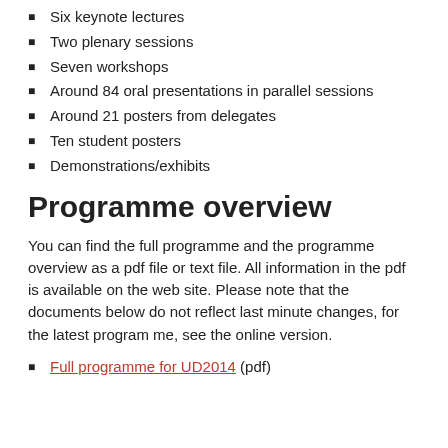Six keynote lectures
Two plenary sessions
Seven workshops
Around 84 oral presentations in parallel sessions
Around 21 posters from delegates
Ten student posters
Demonstrations/exhibits
Programme overview
You can find the full programme and the programme overview as a pdf file or text file. All information in the pdf is available on the web site. Please note that the documents below do not reflect last minute changes, for the latest program me, see the online version.
Full programme for UD2014 (pdf)